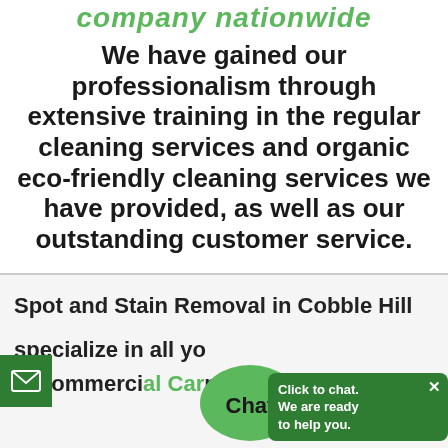company nationwide
We have gained our professionalism through extensive training in the regular cleaning services and organic eco-friendly cleaning services we have provided, as well as our outstanding customer service.
Spot and Stain Removal in Cobble Hill
specialize in all yo...
commercial Carpet...
[Figure (screenshot): Live chat widget with green speech bubble showing 'Chat' label and callout saying 'Click to chat. We are ready to help you.' with close button. Email icon on left. Bottom bar: 'We are online, you can chat with us.']